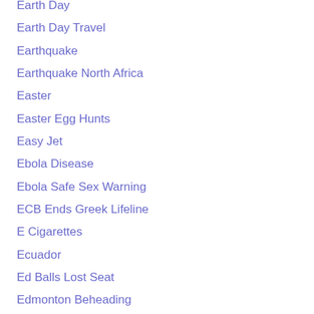Earth Day
Earth Day Travel
Earthquake
Earthquake North Africa
Easter
Easter Egg Hunts
Easy Jet
Ebola Disease
Ebola Safe Sex Warning
ECB Ends Greek Lifeline
E Cigarettes
Ecuador
Ed Balls Lost Seat
Edmonton Beheading
Edward Bright
Edward Heath Abuse
Edward Snowden